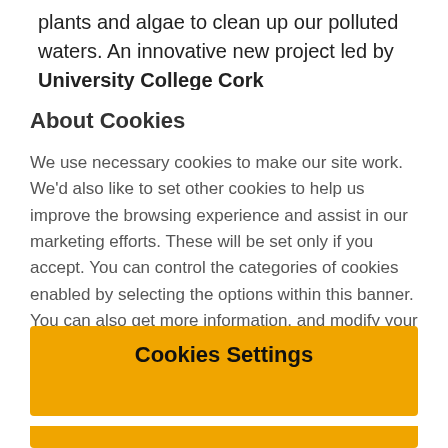plants and algae to clean up our polluted waters. An innovative new project led by University College Cork
About Cookies
We use necessary cookies to make our site work. We'd also like to set other cookies to help us improve the browsing experience and assist in our marketing efforts. These will be set only if you accept. You can control the categories of cookies enabled by selecting the options within this banner. You can also get more information, and modify your cookie preferences at any time by clicking on the cookie settings button, within our Cookie Policy
Cookies Settings